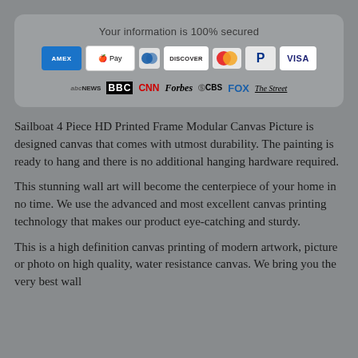[Figure (infographic): Security and trust box showing 'Your information is 100% secured' with payment method icons (AMEX, Apple Pay, Diners, Discover, Mastercard, PayPal, VISA) and media logos (ABC News, BBC, CNN, Forbes, CBS, FOX, The Street)]
Sailboat 4 Piece HD Printed Frame Modular Canvas Picture is designed canvas that comes with utmost durability. The painting is ready to hang and there is no additional hanging hardware required.
This stunning wall art will become the centerpiece of your home in no time. We use the advanced and most excellent canvas printing technology that makes our product eye-catching and sturdy.
This is a high definition canvas printing of modern artwork, picture or photo on high quality, water resistance canvas. We bring you the very best wall